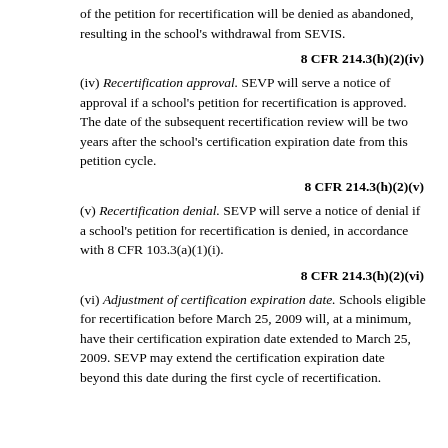of the petition for recertification will be denied as abandoned, resulting in the school's withdrawal from SEVIS.
8 CFR 214.3(h)(2)(iv)
(iv) Recertification approval. SEVP will serve a notice of approval if a school's petition for recertification is approved. The date of the subsequent recertification review will be two years after the school's certification expiration date from this petition cycle.
8 CFR 214.3(h)(2)(v)
(v) Recertification denial. SEVP will serve a notice of denial if a school's petition for recertification is denied, in accordance with 8 CFR 103.3(a)(1)(i).
8 CFR 214.3(h)(2)(vi)
(vi) Adjustment of certification expiration date. Schools eligible for recertification before March 25, 2009 will, at a minimum, have their certification expiration date extended to March 25, 2009. SEVP may extend the certification expiration date beyond this date during the first cycle of recertification.